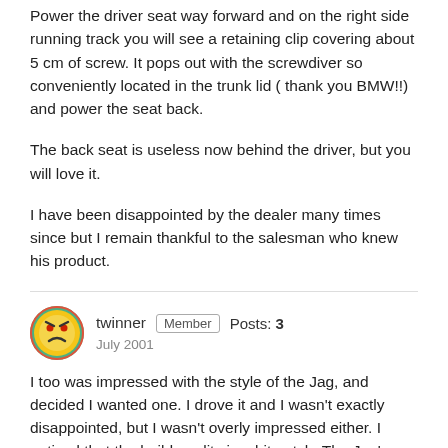Power the driver seat way forward and on the right side running track you will see a retaining clip covering about 5 cm of screw. It pops out with the screwdiver so conveniently located in the trunk lid ( thank you BMW!!) and power the seat back.
The back seat is useless now behind the driver, but you will love it.
I have been disappointed by the dealer many times since but I remain thankful to the salesman who knew his product.
twinner  Member  Posts: 3  July 2001
I too was impressed with the style of the Jag, and decided I wanted one. I drove it and I wasn't exactly disappointed, but I wasn't overly impressed either. I noticed that the build quality is a bit patch. The Jag's interior is full of cheap bits of plastic, more than you would expect in a car of that price. The sleek